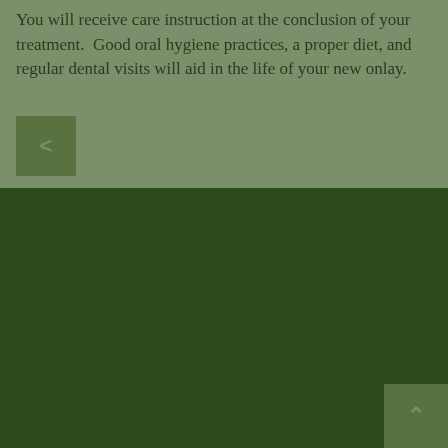You will receive care instruction at the conclusion of your treatment.  Good oral hygiene practices, a proper diet, and regular dental visits will aid in the life of your new onlay.
[Figure (other): Back navigation button with left arrow chevron on olive green background]
[Figure (other): Scroll to top button with upward arrow chevron on dark olive green background, positioned bottom-right of dark green footer section]